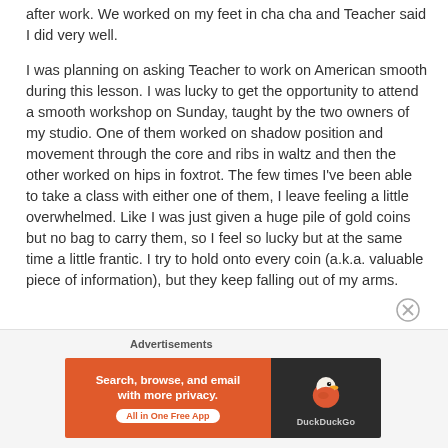after work. We worked on my feet in cha cha and Teacher said I did very well.
I was planning on asking Teacher to work on American smooth during this lesson. I was lucky to get the opportunity to attend a smooth workshop on Sunday, taught by the two owners of my studio. One of them worked on shadow position and movement through the core and ribs in waltz and then the other worked on hips in foxtrot. The few times I've been able to take a class with either one of them, I leave feeling a little overwhelmed. Like I was just given a huge pile of gold coins but no bag to carry them, so I feel so lucky but at the same time a little frantic. I try to hold onto every coin (a.k.a. valuable piece of information), but they keep falling out of my arms.
Advertisements
[Figure (other): DuckDuckGo advertisement banner: orange left panel with text 'Search, browse, and email with more privacy. All in One Free App' and dark right panel with DuckDuckGo logo.]